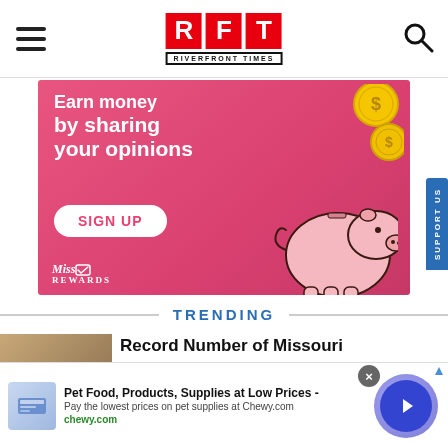[Figure (logo): RFT Riverfront Times logo with red boxes containing letters R, F, T and subtitle text RIVERFRONT TIMES]
[Figure (illustration): Advertisement banner with pink/red gradient background. Text reads 'Earn money by sharing your opinions' with SIGN UP button and MissRewards branding. Cartoon piggy bank and gold coins visible.]
TRENDING
[Figure (photo): Thumbnail image for article, brownish/tan colored]
Record Number of Missouri
[Figure (other): Bottom advertisement: Pet Food, Products, Supplies at Low Prices - Chewy.com. Pay the lowest prices on pet supplies at Chewy.com. Blue circle arrow button on right.]